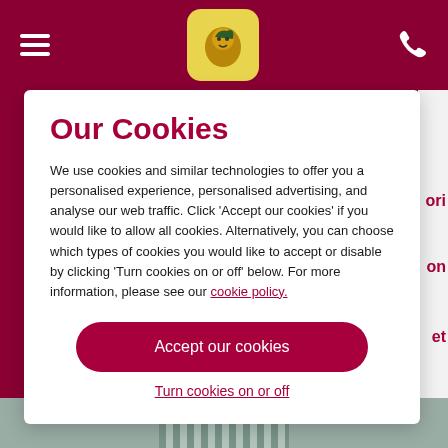Navigation header with hamburger menu, logo, and phone icon
Our Cookies
We use cookies and similar technologies to offer you a personalised experience, personalised advertising, and analyse our web traffic. Click 'Accept our cookies' if you would like to allow all cookies. Alternatively, you can choose which types of cookies you would like to accept or disable by clicking 'Turn cookies on or off' below. For more information, please see our cookie policy.
Accept our cookies
Turn cookies on or off